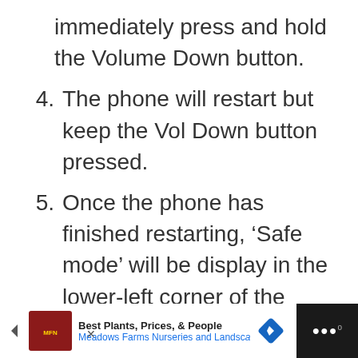immediately press and hold the Volume Down button.
4. The phone will restart but keep the Vol Down button pressed.
5. Once the phone has finished restarting, ‘Safe mode’ will be display in the lower-left corner of the screen.
6. You may now release the Volume Down button.
[Figure (screenshot): Advertisement bar at the bottom showing Meadows Farms Nurseries and Landscape ad with logo, navigation arrow icon, text 'Best Plants, Prices, & People' and a blue diamond navigation icon, on a dark background.]